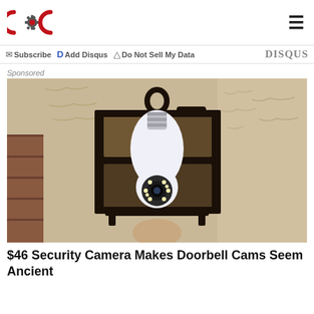COG logo and hamburger menu
Subscribe  Add Disqus  Do Not Sell My Data  DISQUS
Sponsored
[Figure (photo): A security camera shaped like a light bulb mounted inside a black outdoor lantern fixture on a stucco wall.]
$46 Security Camera Makes Doorbell Cams Seem Ancient